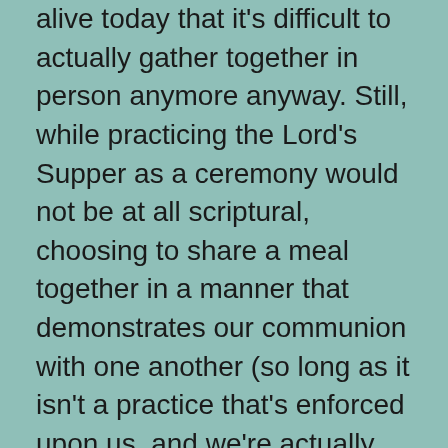alive today that it's difficult to actually gather together in person anymore anyway. Still, while practicing the Lord's Supper as a ceremony would not be at all scriptural, choosing to share a meal together in a manner that demonstrates our communion with one another (so long as it isn't a practice that's enforced upon us, and we're actually sharing the meal with everyone in the ecclesia rather than selfishly consuming it all before everyone has arrived), meaning that it helps us recognize that we're all members of the same body, seems like the exact opposite of a religious ritual to me, and I see no problem with doing just that when